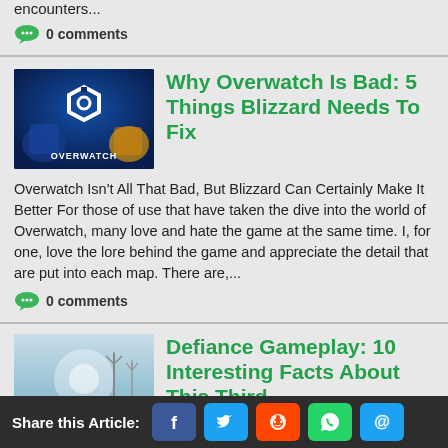encounters...
0 comments
Why Overwatch Is Bad: 5 Things Blizzard Needs To Fix
[Figure (photo): Overwatch game promotional image with Overwatch logo on dark blue background with characters]
Overwatch Isn't All That Bad, But Blizzard Can Certainly Make It Better For those of use that have taken the dive into the world of Overwatch, many love and hate the game at the same time. I, for one, love the lore behind the game and appreciate the detail that are put into each map. There are,...
0 comments
Defiance Gameplay: 10 Interesting Facts About This Third
[Figure (photo): Defiance game screenshot showing a vehicle and wind turbines in a post-apocalyptic landscape]
Forget multi-platform, Defiance has gone multi-media In 2012 twelve developer Trion Worlds teamed up with the SyFy channel to launch their multimedia experience, "Defiance." The show is in that the...
Share this Article: